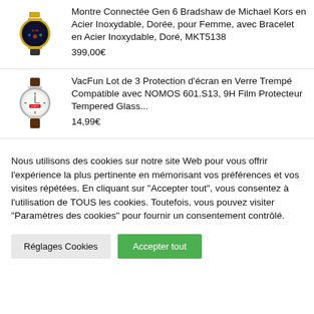[Figure (photo): Gold smartwatch with dark band - Michael Kors Gen 6 Bradshaw]
Montre Connectée Gen 6 Bradshaw de Michael Kors en Acier Inoxydable, Dorée, pour Femme, avec Bracelet en Acier Inoxydable, Doré, MKT5138
399,00€
[Figure (photo): NOMOS 601.S13 watch with white face and brown leather strap]
VacFun Lot de 3 Protection d'écran en Verre Trempé Compatible avec NOMOS 601.S13, 9H Film Protecteur Tempered Glass...
14,99€
Nous utilisons des cookies sur notre site Web pour vous offrir l'expérience la plus pertinente en mémorisant vos préférences et vos visites répétées. En cliquant sur "Accepter tout", vous consentez à l'utilisation de TOUS les cookies. Toutefois, vous pouvez visiter "Paramètres des cookies" pour fournir un consentement contrôlé.
Réglages Cookies
Accepter tout